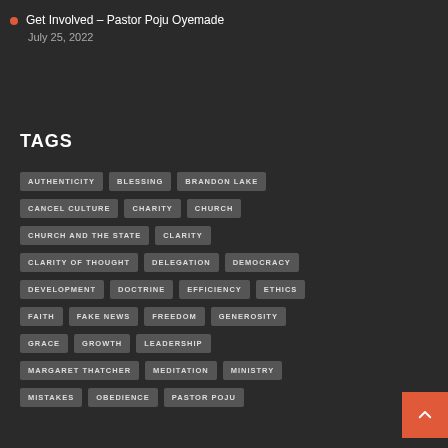Get Involved – Pastor Poju Oyemade
July 25, 2022
TAGS
AUTHENTICITY
BLESSING
BRANDON LAKE
CANCEL CULTURE
CHARITY
CHURCH
CHURCH AND THE STATE
CLARITY
CLARITY OF THOUGHT
DELEGATION
DEMOCRACY
DEVELOPMENT
DOCTRINE
EFFICIENCY
ETHICS
FAITH
FAKE NEWS
FREEDOM
GENEROSITY
GRACE
GROWTH
LEADERSHIP
MARGARET THATCHER
MEDITATION
MINISTRY
MISTAKES
OBEDIENCE
PASTOR POJU